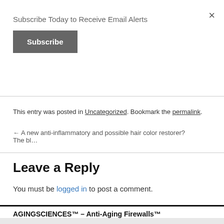×
Subscribe Today to Receive Email Alerts
Subscribe
This entry was posted in Uncategorized. Bookmark the permalink.
← A new anti-inflammatory and possible hair color restorer?  The bl…
Leave a Reply
You must be logged in to post a comment.
AGINGSCIENCES™ – Anti-Aging Firewalls™